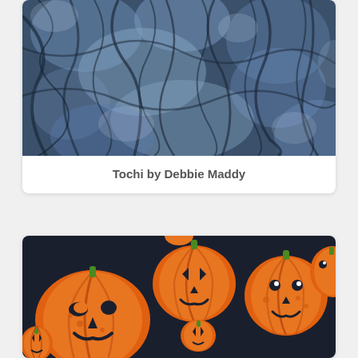[Figure (photo): Blue indigo tie-dye or batik fabric texture with dark branch-like patterns on a slate blue background, labeled Tochi by Debbie Maddy]
Tochi by Debbie Maddy
[Figure (photo): Dark background fabric with pattern of orange Halloween jack-o-lantern pumpkins with various carved faces, green stems]